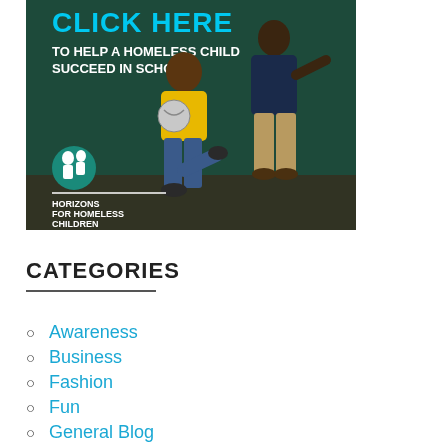[Figure (photo): Promotional banner for Horizons for Homeless Children. Dark teal background. Text reads 'CLICK HERE TO HELP A HOMELESS CHILD SUCCEED IN SCHOOL'. Shows a smiling young boy in a yellow shirt running with a ball, and an adult man behind him. Horizons for Homeless Children logo at bottom left.]
CATEGORIES
Awareness
Business
Fashion
Fun
General Blog